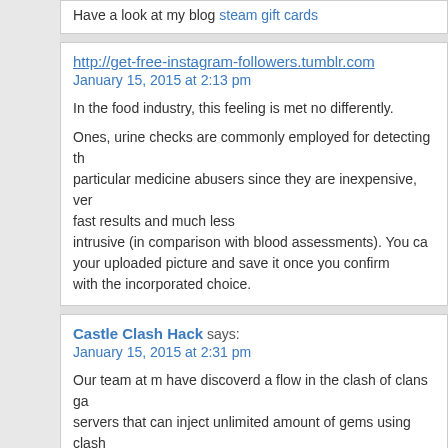Have a look at my blog steam gift cards
http://get-free-instagram-followers.tumblr.com
January 15, 2015 at 2:13 pm
In the food industry, this feeling is met no differently.
Ones, urine checks are commonly employed for detecting the particular medicine abusers since they are inexpensive, very fast results and much less intrusive (in comparison with blood assessments). You can your uploaded picture and save it once you confirm with the incorporated choice.
Castle Clash Hack says:
January 15, 2015 at 2:31 pm
Our team at m have discoverd a flow in the clash of clans ga servers that can inject unlimited amount of gems using clash of clans hack online tool.
my site :: Castle Clash Hack
Free Chat with Gifted Psychics! says:
January 15, 2015 at 2:32 pm
I always spent my half an hour to read this psychic blog's